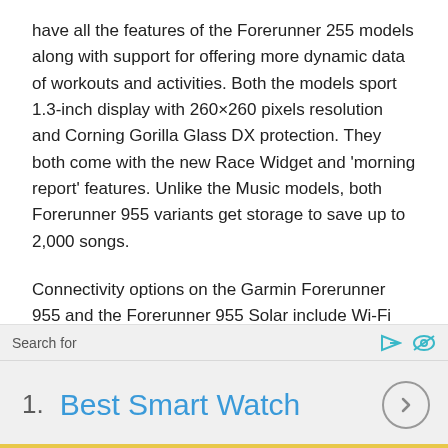have all the features of the Forerunner 255 models along with support for offering more dynamic data of workouts and activities. Both the models sport 1.3-inch display with 260×260 pixels resolution and Corning Gorilla Glass DX protection. They both come with the new Race Widget and 'morning report' features. Unlike the Music models, both Forerunner 955 variants get storage to save up to 2,000 songs.
Connectivity options on the Garmin Forerunner 955 and the Forerunner 955 Solar include Wi-Fi along with Bluetooth and ANT+. The Forerunner 955 is claimed to offer up to 15 days of battery life, and the solar variant can get up to 20 days of run time. They come with 5 ATM
Search for
1.  Best Smart Watch